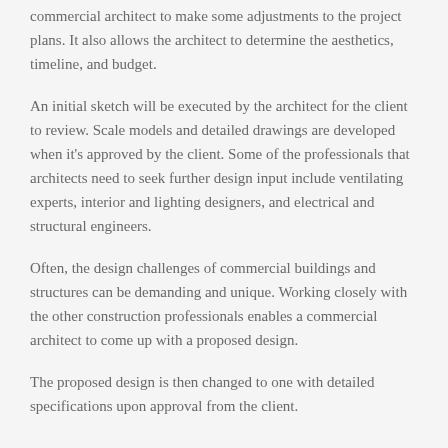commercial architect to make some adjustments to the project plans. It also allows the architect to determine the aesthetics, timeline, and budget.
An initial sketch will be executed by the architect for the client to review. Scale models and detailed drawings are developed when it’s approved by the client. Some of the professionals that architects need to seek further design input include ventilating experts, interior and lighting designers, and electrical and structural engineers.
Often, the design challenges of commercial buildings and structures can be demanding and unique. Working closely with the other construction professionals enables a commercial architect to come up with a proposed design.
The proposed design is then changed to one with detailed specifications upon approval from the client.